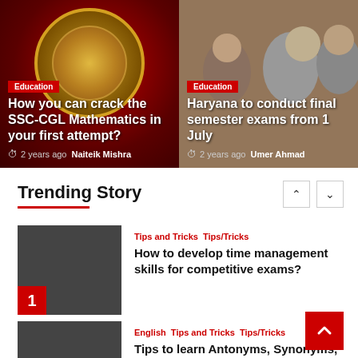[Figure (photo): SSC emblem/logo on red background]
Education
How you can crack the SSC-CGL Mathematics in your first attempt?
2 years ago  Naiteik Mishra
[Figure (photo): Students writing exam in a classroom]
Education
Haryana to conduct final semester exams from 1 July
2 years ago  Umer Ahmad
Trending Story
[Figure (photo): Dark thumbnail image for story 1]
Tips and Tricks  Tips/Tricks
How to develop time management skills for competitive exams?
[Figure (photo): Dark thumbnail image for story 2]
English  Tips and Tricks  Tips/Tricks
Tips to learn Antonyms, Synonyms, and Ho…